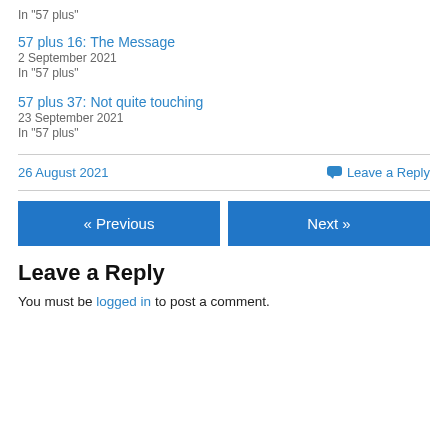In "57 plus"
57 plus 16: The Message
2 September 2021
In "57 plus"
57 plus 37: Not quite touching
23 September 2021
In "57 plus"
26 August 2021
Leave a Reply
« Previous
Next »
Leave a Reply
You must be logged in to post a comment.